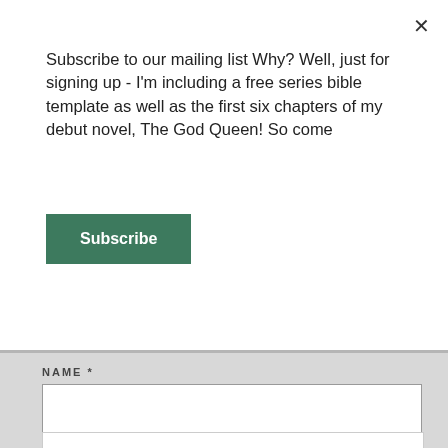Subscribe to our mailing list Why? Well, just for signing up - I'm including a free series bible template as well as the first six chapters of my debut novel, The God Queen! So come
Subscribe
NAME *
Privacy & Cookies: This site uses cookies. By continuing to use this website, you agree to their use.
To find out more, including how to control cookies, see here: Cookie Policy
Close and accept